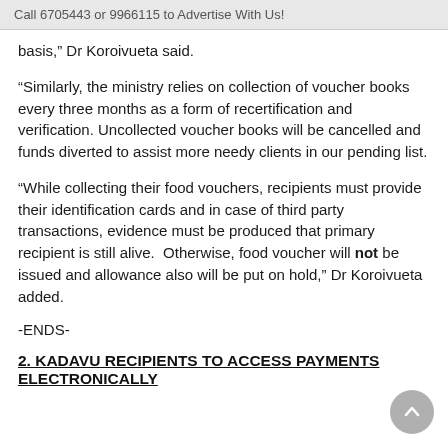Call 6705443 or 9966115 to Advertise With Us!
basis,” Dr Koroivueta said.
“Similarly, the ministry relies on collection of voucher books every three months as a form of recertification and verification. Uncollected voucher books will be cancelled and funds diverted to assist more needy clients in our pending list.
“While collecting their food vouchers, recipients must provide their identification cards and in case of third party transactions, evidence must be produced that primary recipient is still alive. Otherwise, food voucher will not be issued and allowance also will be put on hold,” Dr Koroivueta added.
-ENDS-
2. KADAVU RECIPIENTS TO ACCESS PAYMENTS ELECTRONICALLY